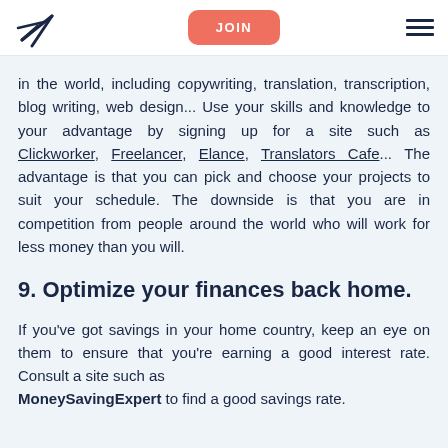JOIN
in the world, including copywriting, translation, transcription, blog writing, web design... Use your skills and knowledge to your advantage by signing up for a site such as Clickworker, Freelancer, Elance, Translators Cafe... The advantage is that you can pick and choose your projects to suit your schedule. The downside is that you are in competition from people around the world who will work for less money than you will.
9. Optimize your finances back home.
If you've got savings in your home country, keep an eye on them to ensure that you're earning a good interest rate. Consult a site such as MoneySavingExpert to find a good savings rate.